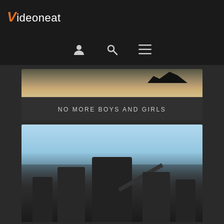Videoneat
[Figure (other): Navigation icons: user/profile icon, search icon, hamburger menu icon]
[Figure (photo): Partial image showing sandy ground with dark figures in the background]
NO MORE BOYS AND GIRLS
[Figure (photo): Armed soldiers in black gear and caps carrying rifles, marching against a blue sky background]